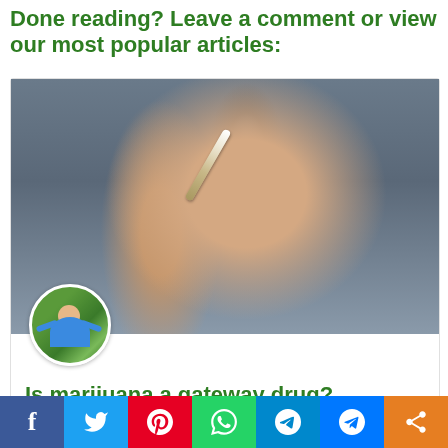Done reading? Leave a comment or view our most popular articles:
[Figure (photo): Close-up photo of a person's hands holding a marijuana joint/cigarette, blurred background]
Is marijuana a gateway drug?
Reading Time: 6 minutes
Marijuana isn't addictive like other harder drugs, yet people tend to develop a mental dependency on cannabis